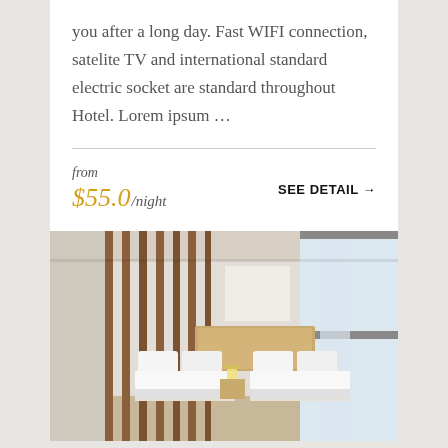you after a long day. Fast WIFI connection, satelite TV and international standard electric socket are standard throughout Hotel. Lorem ipsum ...
from
$55.0/night
SEE DETAIL →
[Figure (photo): Hotel room interior showing twin beds with white linens, wooden headboard, wooden slat room divider, and large windows with sheer curtains]